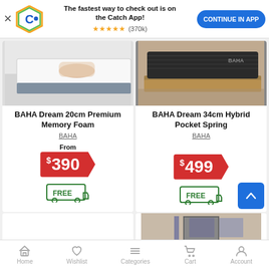[Figure (screenshot): App promotion banner with Catch logo, star rating (370k reviews), text 'The fastest way to check out is on the Catch App!' and 'CONTINUE IN APP' blue button]
[Figure (photo): White memory foam mattress product image, top-down view]
BAHA Dream 20cm Premium Memory Foam
BAHA
From
$390
[Figure (illustration): Free delivery truck icon with 'FREE' text in green]
[Figure (photo): Dark gray hybrid pocket spring mattress on wooden bed frame]
BAHA Dream 34cm Hybrid Pocket Spring
BAHA
$499
[Figure (illustration): Free delivery truck icon with 'FREE' text in green]
Home  Wishlist  Categories  Cart  Account